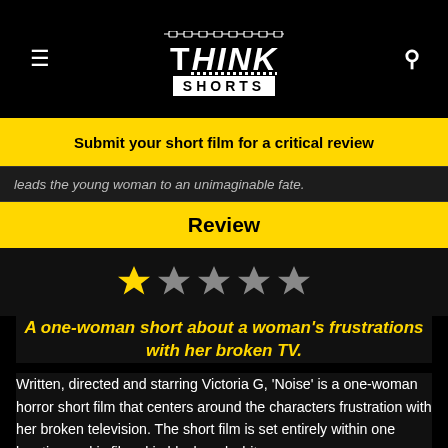Think Shorts — navigation header with hamburger menu, logo, and search icon
Submit your short film for a critical review
leads the young woman to an unimaginable fate.
Review
[Figure (other): 1 out of 5 stars rating — one gold star and four grey stars]
A one-woman short about a woman's frustrations with her broken TV.
Written, directed and starring Victoria G, 'Noise' is a one-woman horror short film that centers around the characters frustration with her broken television. The short film is set entirely within one location and is filmed in black and white.